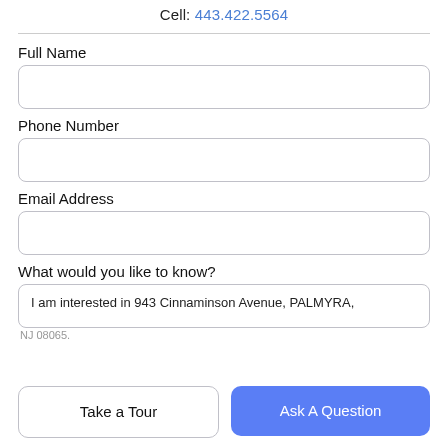Cell: 443.422.5564
Full Name
Phone Number
Email Address
What would you like to know?
I am interested in 943 Cinnaminson Avenue, PALMYRA,
NJ 08065.
Take a Tour
Ask A Question